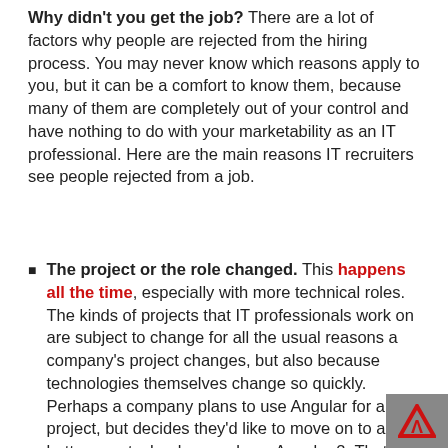Why didn't you get the job? There are a lot of factors why people are rejected from the hiring process. You may never know which reasons apply to you, but it can be a comfort to know them, because many of them are completely out of your control and have nothing to do with your marketability as an IT professional. Here are the main reasons IT recruiters see people rejected from a job.
The project or the role changed. This happens all the time, especially with more technical roles. The kinds of projects that IT professionals work on are subject to change for all the usual reasons a company's project changes, but also because technologies themselves change so quickly. Perhaps a company plans to use Angular for a project, but decides they'd like to move on to a hotter new technology and use Angular 2. That means th